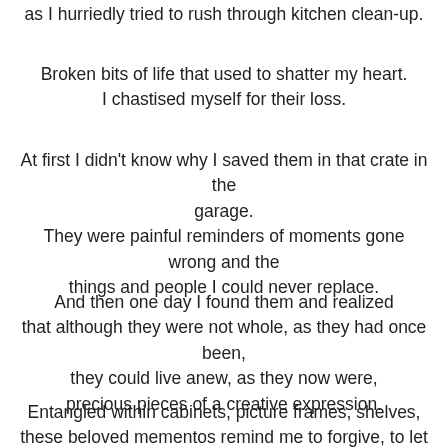as I hurriedly tried to rush through kitchen clean-up.
Broken bits of life that used to shatter my heart.
I chastised myself for their loss.
At first I didn't know why I saved them in that crate in the garage.
They were painful reminders of moments gone wrong and the
things and people I could never replace.
And then one day I found them and realized
that although they were not whole, as they had once been,
they could live anew, as they now were,
precious pieces of a creative expression.
Entangled within cabinets, picture frames, shelves,
these beloved mementos remind me to forgive, to let go